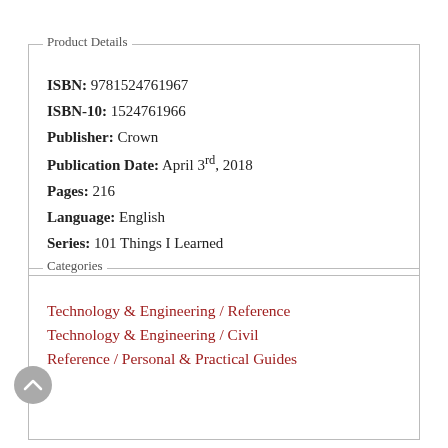Product Details
ISBN: 9781524761967
ISBN-10: 1524761966
Publisher: Crown
Publication Date: April 3rd, 2018
Pages: 216
Language: English
Series: 101 Things I Learned
Categories
Technology & Engineering / Reference
Technology & Engineering / Civil
Reference / Personal & Practical Guides